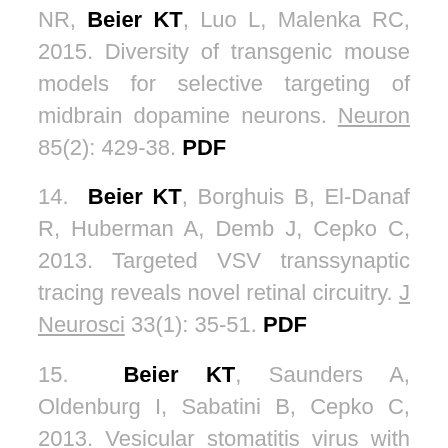NR, Beier KT, Luo L, Malenka RC, 2015. Diversity of transgenic mouse models for selective targeting of midbrain dopamine neurons. Neuron 85(2): 429-38. PDF
14. Beier KT, Borghuis B, El-Danaf R, Huberman A, Demb J, Cepko C, 2013. Targeted VSV transsynaptic tracing reveals novel retinal circuitry. J Neurosci 33(1): 35-51. PDF
15. Beier KT, Saunders A, Oldenburg I, Sabatini B, Cepko C, 2013. Vesicular stomatitis virus with the rabies virus glycoprotein directs retrograde transsynaptic transport among neurons